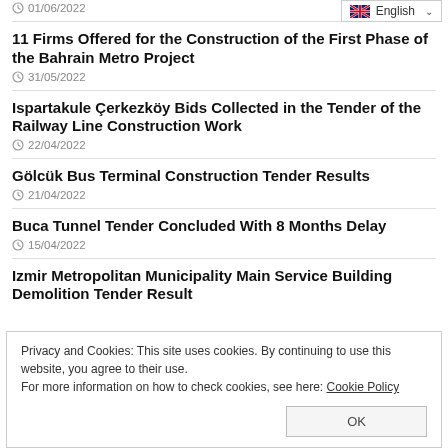01/06/2022
English
11 Firms Offered for the Construction of the First Phase of the Bahrain Metro Project
31/05/2022
Ispartakule Çerkezköy Bids Collected in the Tender of the Railway Line Construction Work
22/04/2022
Gölcük Bus Terminal Construction Tender Results
21/04/2022
Buca Tunnel Tender Concluded With 8 Months Delay
15/04/2022
Izmir Metropolitan Municipality Main Service Building Demolition Tender Result
Privacy and Cookies: This site uses cookies. By continuing to use this website, you agree to their use.
For more information on how to check cookies, see here: Cookie Policy